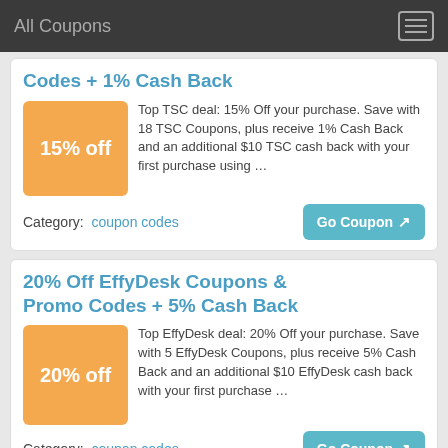All Coupons
Codes + 1% Cash Back
Top TSC deal: 15% Off your purchase. Save with 18 TSC Coupons, plus receive 1% Cash Back and an additional $10 TSC cash back with your first purchase using …
Category:  coupon codes
Go Coupon
20% Off EffyDesk Coupons & Promo Codes + 5% Cash Back
Top EffyDesk deal: 20% Off your purchase. Save with 5 EffyDesk Coupons, plus receive 5% Cash Back and an additional $10 EffyDesk cash back with your first purchase …
Category:  coupon codes